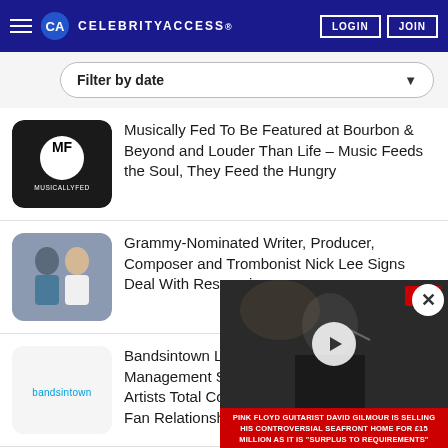CELEBRITYACCESS. LOGIN JOIN
Filter by date
Musically Fed To Be Featured at Bourbon & Beyond and Louder Than Life – Music Feeds the Soul, They Feed the Hungry
Grammy-Nominated Writer, Producer, Composer and Trombonist Nick Lee Signs Deal With Reservoir
Bandsintown Launch Fan Management Suite Giving Artists Total Control of Their Fan Relationships at No
Destination Chaos... Parquet Courts, an... Festival in the Domi...
[Figure (screenshot): Video overlay showing a musician at a microphone with caption: PINK FLOYD GUITARIST DAVID GILMOUR IS SELLING HIS CONTROVERSIAL SEAFRONT HOME FOR £15 MILLION AS IT IS 'SURPLUS TO REQUIREMENTS']